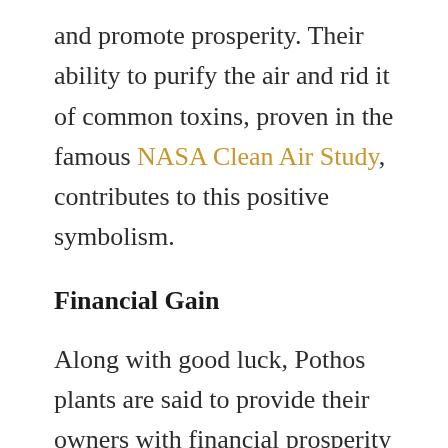and promote prosperity. Their ability to purify the air and rid it of common toxins, proven in the famous NASA Clean Air Study, contributes to this positive symbolism.
Financial Gain
Along with good luck, Pothos plants are said to provide their owners with financial prosperity too. They even have the common name Money Plant in some regions, partly due to their somewhat coin-shaped leaves and party due to the